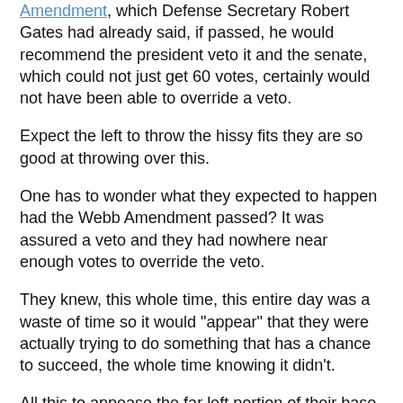Amendment, which Defense Secretary Robert Gates had already said, if passed, he would recommend the president veto it and the senate, which could not just get 60 votes, certainly would not have been able to override a veto.
Expect the left to throw the hissy fits they are so good at throwing over this.
One has to wonder what they expected to happen had the Webb Amendment passed? It was assured a veto and they had nowhere near enough votes to override the veto.
They knew, this whole time, this entire day was a waste of time so it would "appear" that they were actually trying to do something that has a chance to succeed, the whole time knowing it didn't.
All this to appease the far left portion of their base.
I will update as soon as the next Amendment has been voted on and the numbers are in.
Second Amendment (McCain amendment) has been